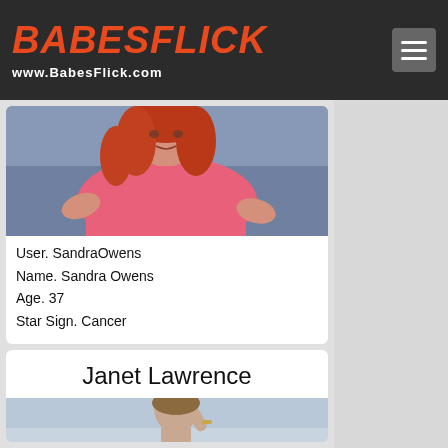BABESFLICK www.BabesFlick.com
[Figure (photo): Photo of a woman with red hair wearing a pink outfit, lying on a bed with blue patterned sheets]
User. SandraOwens
Name. Sandra Owens
Age. 37
Star Sign. Cancer
CHAT »   PROFILE »
Janet Lawrence
[Figure (photo): Partial photo of a person against a light blue background]